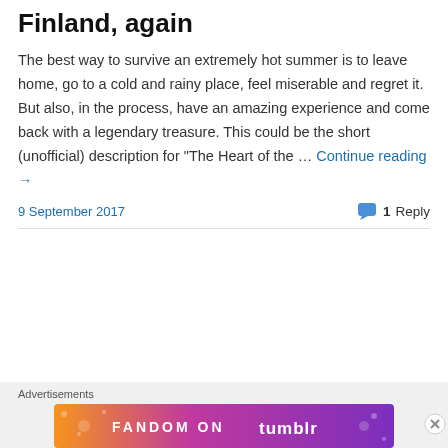Finland, again
The best way to survive an extremely hot summer is to leave home, go to a cold and rainy place, feel miserable and regret it. But also, in the process, have an amazing experience and come back with a legendary treasure. This could be the short (unofficial) description for "The Heart of the … Continue reading →
9 September 2017
1 Reply
[Figure (screenshot): Fandom on Tumblr advertisement banner with colorful orange-to-purple gradient background and white illustrated icons]
Advertisements